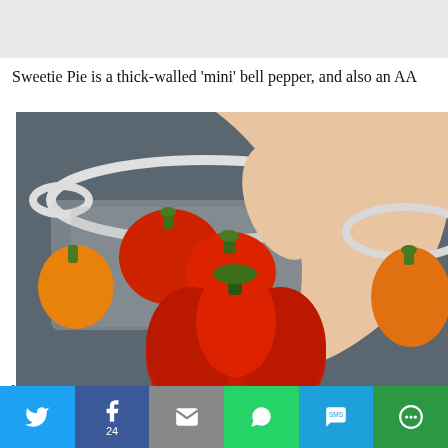Sweetie Pie is a thick-walled ‘mini’ bell pepper, and also an AA
[Figure (photo): Photo of red mini bell peppers in a colander, with a hand holding one up, and an orange pepper visible to the right in another colander]
Privacy & Cookies: This site uses cookies. By continuing to use this website, you agree to their use.
To find out more, including how to control cookies, see here: Cookie Policy